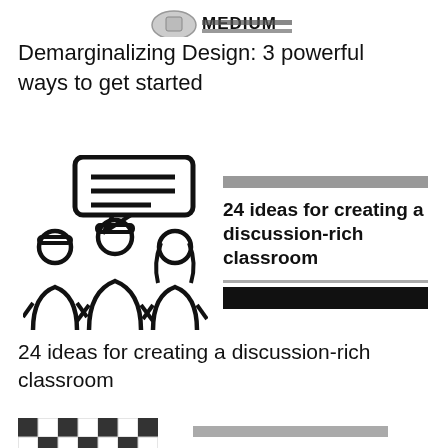MEDIUM (partially obscured)
Demarginalizing Design: 3 powerful ways to get started
[Figure (illustration): Icon of three people (two with hats, one with long hair) with a speech bubble containing text lines above them, representing classroom discussion.]
24 ideas for creating a discussion-rich classroom
24 ideas for creating a discussion-rich classroom
[Figure (illustration): Partially visible image at the bottom of the page, appears to show a checkered/patterned object.]